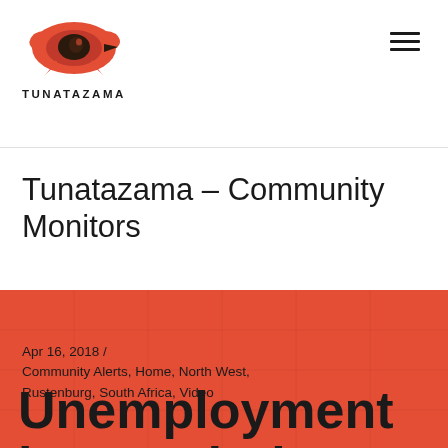[Figure (logo): Tunatazama logo: stylized red eye/bird shape with black detail, above the text TUNATAZAMA in bold spaced capitals]
Tunatazama – Community Monitors
Apr 16, 2018  /
Community Alerts, Home, North West, Rustenburg, South Africa, Video
Unemployment in Wonderkop